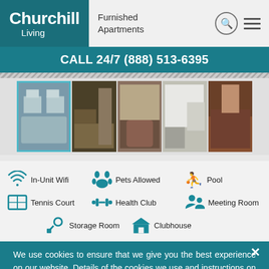Churchill Living | Furnished Apartments
CALL 24/7 (888) 513-6395
[Figure (photo): Photo strip of 5 apartment images: exterior building, bedroom, living room, kitchen, dining area. First image selected/highlighted with teal border.]
In-Unit Wifi | Pets Allowed | Pool | Tennis Court | Health Club | Meeting Room | Storage Room | Clubhouse
We use cookies to ensure that we give you the best experience on our website. Details of the cookies we use and instructions on how to disable them are set forth in our Privacy Policy. By continuing to use our website without changing your settings, you are agreeing with our use of cookies.